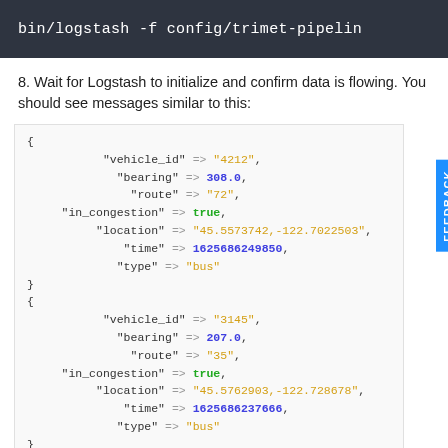[Figure (screenshot): Terminal command bar showing: bin/logstash -f config/trimet-pipelin]
8. Wait for Logstash to initialize and confirm data is flowing. You should see messages similar to this:
[Figure (screenshot): JSON code block showing two Logstash output records with fields: vehicle_id, bearing, route, in_congestion, location, time, type]